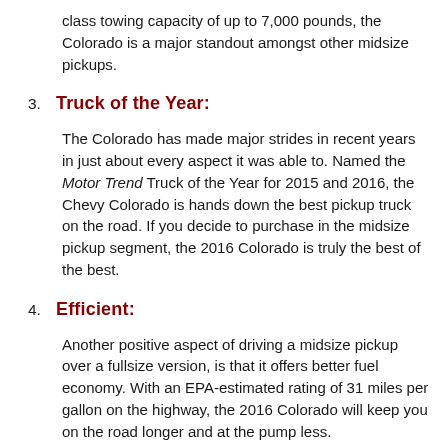class towing capacity of up to 7,000 pounds, the Colorado is a major standout amongst other midsize pickups.
3. Truck of the Year:
The Colorado has made major strides in recent years in just about every aspect it was able to. Named the Motor Trend Truck of the Year for 2015 and 2016, the Chevy Colorado is hands down the best pickup truck on the road. If you decide to purchase in the midsize pickup segment, the 2016 Colorado is truly the best of the best.
4. Efficient:
Another positive aspect of driving a midsize pickup over a fullsize version, is that it offers better fuel economy. With an EPA-estimated rating of 31 miles per gallon on the highway, the 2016 Colorado will keep you on the road longer and at the pump less.
5. Safety Technology: